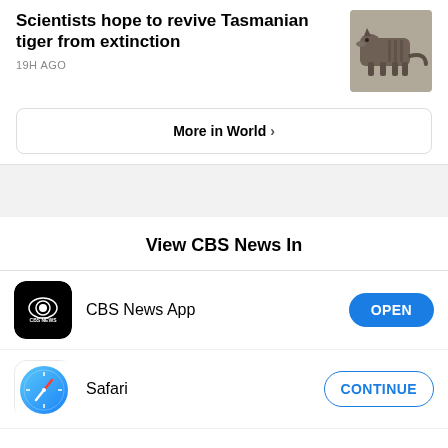Scientists hope to revive Tasmanian tiger from extinction
19H AGO
[Figure (photo): Black and white photograph of a Tasmanian tiger (thylacine)]
More in World >
View CBS News In
CBS News App
OPEN
Safari
CONTINUE